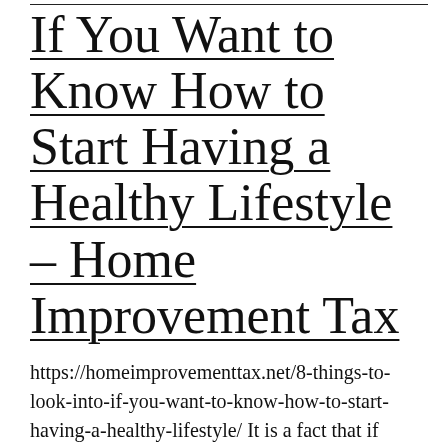If You Want to Know How to Start Having a Healthy Lifestyle – Home Improvement Tax
https://homeimprovementtax.net/8-things-to-look-into-if-you-want-to-know-how-to-start-having-a-healthy-lifestyle/ It is a fact that if you're continuously exposed to the evils and darkness, then your thinking are reflected in that. There is a